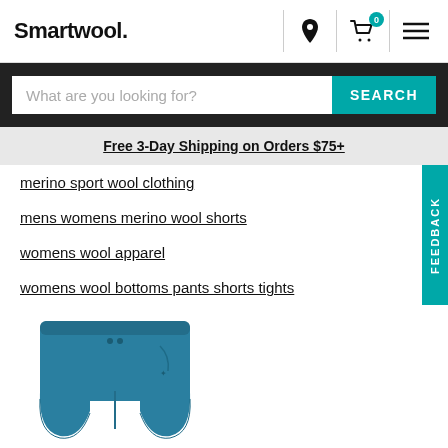Smartwool.
What are you looking for?
Free 3-Day Shipping on Orders $75+
merino sport wool clothing
mens womens merino wool shorts
womens wool apparel
womens wool bottoms pants shorts tights
[Figure (photo): Teal/blue merino wool shorts product photo]